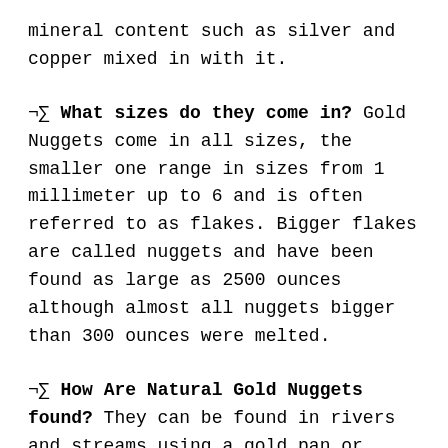mineral content such as silver and copper mixed in with it.
¬∑ What sizes do they come in? Gold Nuggets come in all sizes, the smaller one range in sizes from 1 millimeter up to 6 and is often referred to as flakes. Bigger flakes are called nuggets and have been found as large as 2500 ounces although almost all nuggets bigger than 300 ounces were melted.
¬∑ How Are Natural Gold Nuggets found? They can be found in rivers and streams using a gold pan or suction dredges that act like an underground vacuum cleaner. Larger operations use large machinery that dig up huge sections of dirt weighing several tons and run it through machines